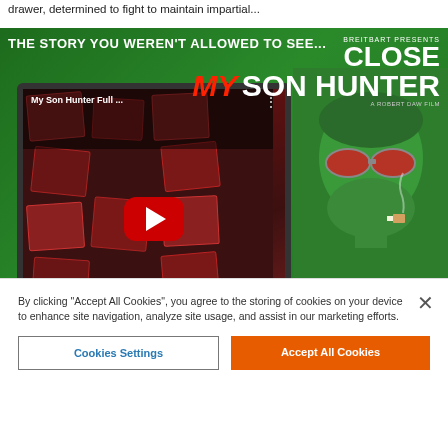drawer, determined to fight to maintain impartial...
[Figure (screenshot): Advertisement for 'My Son Hunter' film by Breitbart. Shows a YouTube video thumbnail of 'My Son Hunter Full...' with a red YouTube play button, on a laptop. Right side shows a man with green tinted skin and red sunglasses smoking a cigarette. Text: 'THE STORY YOU WEREN'T ALLOWED TO SEE...', 'BREITBART PRESENTS', 'CLOSE', 'MY SON HUNTER', 'A ROBERT DAW FILM', 'WATCH THE TRAILER', 'MYSONHUNTER.COM', 'COMING SEPT 7', 'PRE-ORDER NOW']
By clicking “Accept All Cookies”, you agree to the storing of cookies on your device to enhance site navigation, analyze site usage, and assist in our marketing efforts.
Cookies Settings
Accept All Cookies